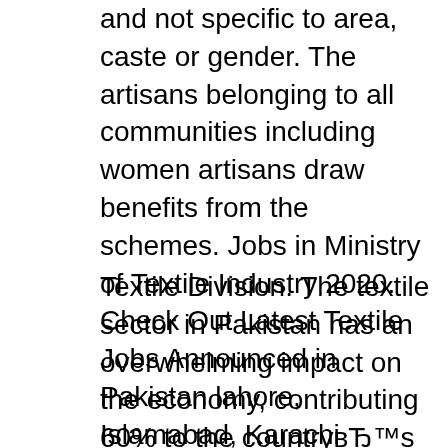and not specific to area, caste or gender. The artisans belonging to all communities including women artisans draw benefits from the schemes. Jobs in Ministry of Textile Industry 2020. Check Out Latest Textile Jobs Announced in Pakistan lahore, Islamabad, Karachi published in all newspaper.
Textile Division. The textile sector in Pakistan has an overwhelming impact on the economy, contributing 60% to the countryвЂ™s exports. In todayвЂ™s highly competitive global environment, the textile sector needs to upgrade its supply chain, improve productivity, and maximize value-addition to be able to survive. Ministry